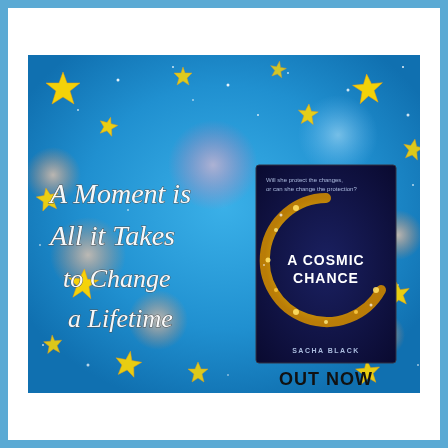[Figure (illustration): Book promotional banner on a blue starry background with gold stars scattered throughout. Left side shows cursive text reading 'A Moment is All it Takes to Change a Lifetime'. Right side shows the book cover for 'A Cosmic Chance' by Sacha Black, featuring a dark navy cover with a golden crescent/spiral of stars. Below the book cover reads 'OUT NOW' in bold dark letters.]